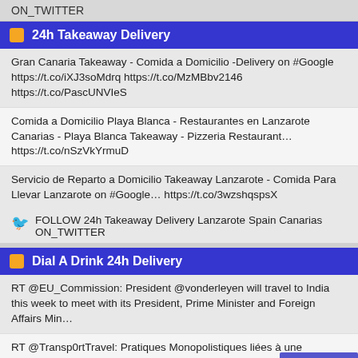ON_TWITTER
24h Takeaway Delivery
Gran Canaria Takeaway - Comida a Domicilio -Delivery on #Google https://t.co/iXJ3soMdrq https://t.co/MzMBbv2146 https://t.co/PascUNVIeS
Comida a Domicilio Playa Blanca - Restaurantes en Lanzarote Canarias - Playa Blanca Takeaway - Pizzeria Restaurant… https://t.co/nSzVkYrmuD
Servicio de Reparto a Domicilio Takeaway Lanzarote - Comida Para Llevar Lanzarote on #Google… https://t.co/3wzshqspsX
FOLLOW 24h Takeaway Delivery Lanzarote Spain Canarias ON_TWITTER
Dial A Drink 24h Delivery
RT @EU_Commission: President @vonderleyen will travel to India this week to meet with its President, Prime Minister and Foreign Affairs Min…
RT @Transp0rtTravel: Pratiques Monopolistiques liées à une limitation du nombre de permis et de licences accordés au
Back To Top